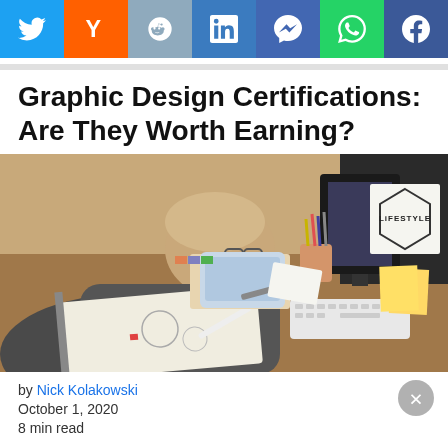[Figure (other): Social media share bar with 7 icons: Twitter (blue), Yahoo (orange), Reddit (gray-blue), LinkedIn (blue), Messenger (dark blue), WhatsApp (green), Facebook (dark blue)]
Graphic Design Certifications: Are They Worth Earning?
[Figure (photo): A person with glasses leaning over a desk, sketching or drawing graphic design work. The desk has pencils, markers, notebooks, a keyboard, sticky notes, and a monitor with 'LIFESTYLE' text visible in the background.]
by Nick Kolakowski
October 1, 2020
8 min read